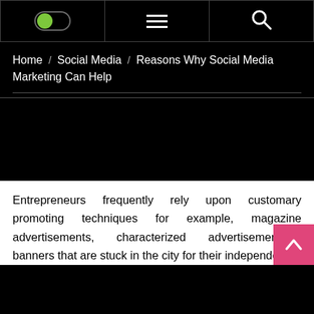[Figure (screenshot): Website navigation bar with toggle switch (green), hamburger menu icon (three lines), and search icon (magnifying glass) on black background]
Home / Social Media / Reasons Why Social Media Marketing Can Help
[Figure (photo): Black image area placeholder]
Entrepreneurs frequently rely upon customary promoting techniques for example, magazine advertisements, characterized advertisements or banners that are stuck in the city for their independent